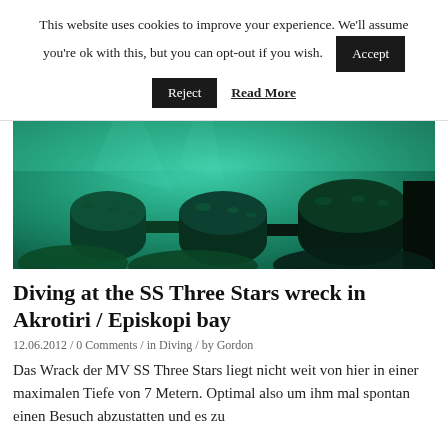This website uses cookies to improve your experience. We'll assume you're ok with this, but you can opt-out if you wish.
[Figure (photo): Underwater photo of the SS Three Stars shipwreck showing barnacle- and algae-covered machinery parts in teal-green water]
Diving at the SS Three Stars wreck in Akrotiri / Episkopi bay
12.06.2012 / 0 Comments / in Diving / by Gordon
Das Wrack der MV SS Three Stars liegt nicht weit von hier in einer maximalen Tiefe von 7 Metern. Optimal also um ihm mal spontan einen Besuch abzustatten und es zu